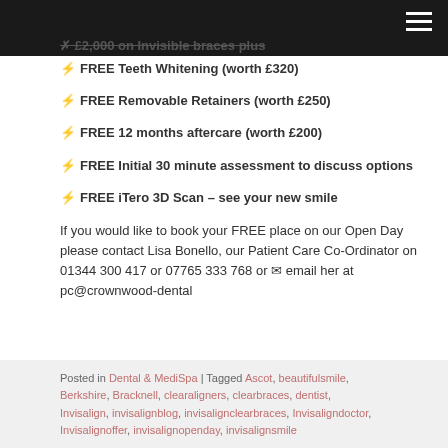FREE Teeth Whitening (worth £320)
FREE Removable Retainers (worth £250)
FREE 12 months aftercare (worth £200)
FREE Initial 30 minute assessment to discuss options
FREE iTero 3D Scan – see your new smile
If you would like to book your FREE place on our Open Day please contact Lisa Bonello, our Patient Care Co-Ordinator on 01344 300 417 or 07765 333 768 or ✉ email her at pc@crownwood-dental
Posted in Dental & MediSpa | Tagged Ascot, beautifulsmile, Berkshire, Bracknell, clearaligners, clearbraces, dentist, Invisalign, invisalignblog, invisalignclearbraces, Invisaligndoctor, Invisalignoffer, invisalignopenday, invisalignsmile